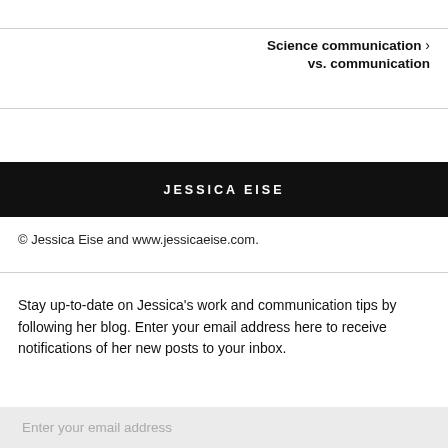Science communication › vs. communication
JESSICA EISE
© Jessica Eise and www.jessicaeise.com.
Stay up-to-date on Jessica's work and communication tips by following her blog. Enter your email address here to receive notifications of her new posts to your inbox.
Enter your email address